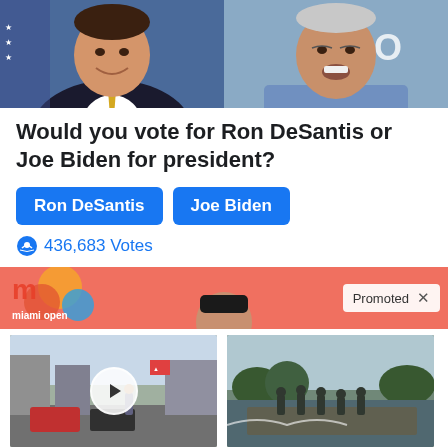[Figure (photo): Two photos side by side: left shows a smiling man in a suit with yellow tie in front of an American flag, right shows an older man in a light blue shirt speaking]
Would you vote for Ron DeSantis or Joe Biden for president?
[Figure (infographic): Two blue poll buttons labeled 'Ron DeSantis' and 'Joe Biden']
436,683 Votes
[Figure (photo): Promotional ad banner with orange/coral background, Miami Open text, colorful M logo blobs, a face visible in center, and a 'Promoted X' badge on right]
[Figure (photo): Street scene photo with cars and people, play button overlay]
Why You Need This Strange Device When The Grid Goes Down
8,788
[Figure (photo): Military personnel on a boat in water]
More Camp Lejeune Claims Are Now Being Accepted
4,896